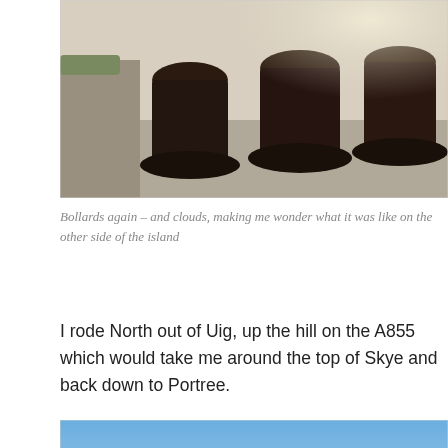[Figure (photo): Photograph of dark industrial bollards/mooring posts on a dock or harbor, with bright sunlight and some greenery/machinery visible in the background]
Bollards again – and clouds, making me wonder what it was like on the other side of the island
I rode North out of Uig, up the hill on the A855 which would take me around the top of Skye and back down to Portree.
[Figure (photo): Photograph of a clear blue sky with a faint horizon line showing a distant landmass or hills beneath, very light and airy]